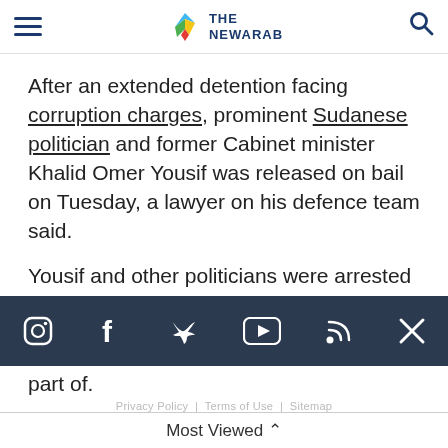THE NEWARAB
After an extended detention facing corruption charges, prominent Sudanese politician and former Cabinet minister Khalid Omer Yousif was released on bail on Tuesday, a lawyer on his defence team said.
Yousif and other politicians were arrested in February following a coup by the military leaders part of.
[Figure (other): Social media icons bar with Instagram, Facebook, Twitter, YouTube, RSS, and X icons on dark navy background]
They previously worked on a committee tasked with dismantling the Omar al-Bashir regime.
Most Viewed ^